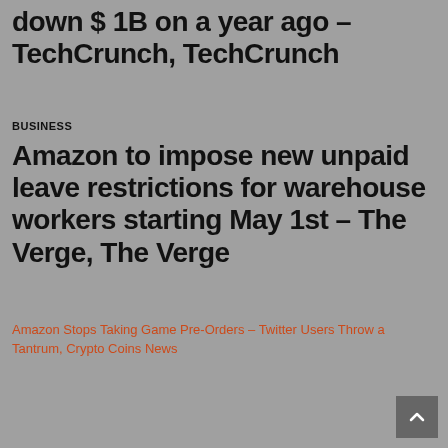down $ 1B on a year ago – TechCrunch, TechCrunch
BUSINESS
Amazon to impose new unpaid leave restrictions for warehouse workers starting May 1st – The Verge, The Verge
[Figure (photo): Broken image placeholder with link text: Amazon Stops Taking Game Pre-Orders – Twitter Users Throw a Tantrum, Crypto Coins News]